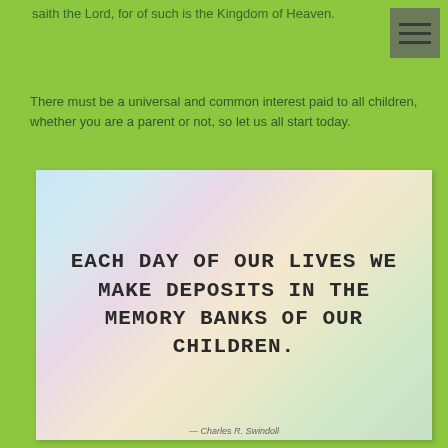saith the Lord, for of such is the Kingdom of Heaven.
There must be a universal and common interest paid to all children, whether you are a parent or not, so let us all start today.
[Figure (illustration): Inspirational quote image with soft pastel blurred background reading: EACH DAY OF OUR LIVES WE MAKE DEPOSITS IN THE MEMORY BANKS OF OUR CHILDREN. in bold monospace uppercase text with a partial cursive credit at bottom.]